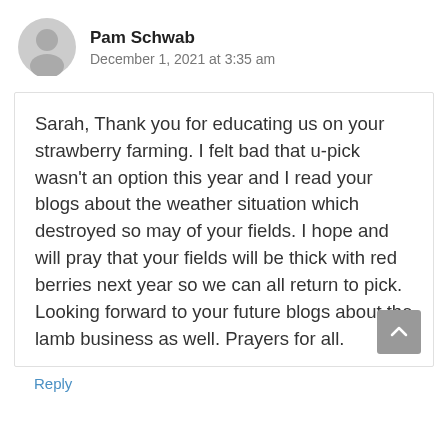Pam Schwab
December 1, 2021 at 3:35 am
Sarah, Thank you for educating us on your strawberry farming. I felt bad that u-pick wasn't an option this year and I read your blogs about the weather situation which destroyed so may of your fields. I hope and will pray that your fields will be thick with red berries next year so we can all return to pick. Looking forward to your future blogs about the lamb business as well. Prayers for all.
Reply